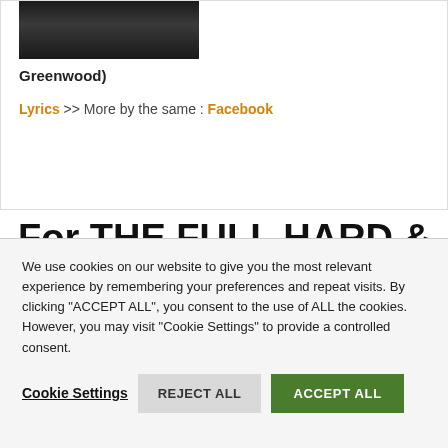[Figure (photo): Partial photo of a person in dark clothing, cropped at top]
Greenwood)
Lyrics >> More by the same : Facebook
For THE FULL HARD & METAL COLLECTION click here
We use cookies on our website to give you the most relevant experience by remembering your preferences and repeat visits. By clicking "ACCEPT ALL", you consent to the use of ALL the cookies. However, you may visit "Cookie Settings" to provide a controlled consent.
Cookie Settings   REJECT ALL   ACCEPT ALL